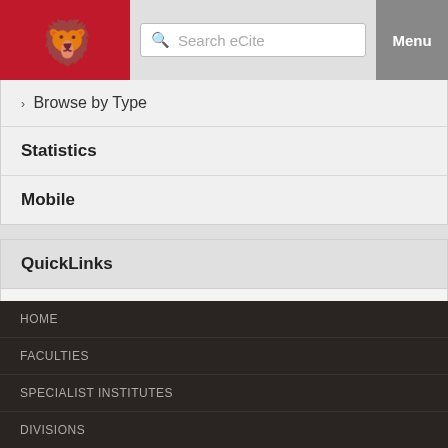Search eCite | Menu
> Browse by Type
Statistics
Mobile
QuickLinks
Research Home
Staff Publication Upload
WARP
HOME
FACULTIES
SPECIALIST INSTITUTES
DIVISIONS